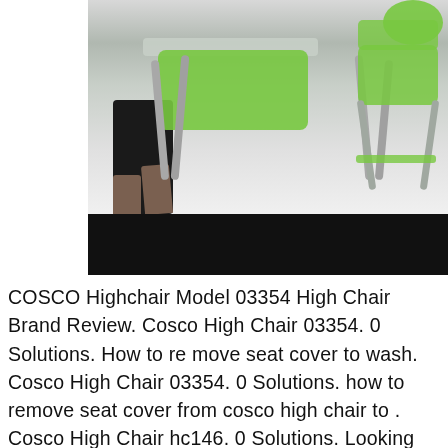[Figure (photo): Photo of a person assembling or demonstrating a COSCO highchair with green seat cushion. A second assembled green highchair is visible to the right. The lower portion of the image has a black bar.]
COSCO Highchair Model 03354 High Chair Brand Review. Cosco High Chair 03354. 0 Solutions. How to re move seat cover to wash. Cosco High Chair 03354. 0 Solutions. how to remove seat cover from cosco high chair to . Cosco High Chair hc146. 0 Solutions. Looking for manual for a 03-628-TCT high chair. Cosco High Chair 03-628-TCT. 0 Solutions. How to take apart to clean. Cosco High Chair 03354. 1 Solutions.